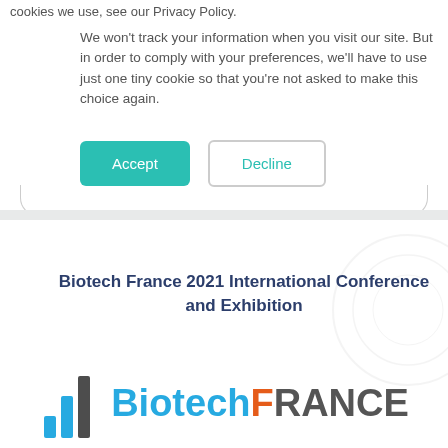cookies we use, see our Privacy Policy.
We won't track your information when you visit our site. But in order to comply with your preferences, we'll have to use just one tiny cookie so that you're not asked to make this choice again.
[Figure (screenshot): Cookie consent dialog with Accept (teal filled) and Decline (outlined) buttons]
[Figure (logo): Biotech France 2021 International Conference and Exhibition logo with stylized bar chart icon and colorful BiotechFRANCE text]